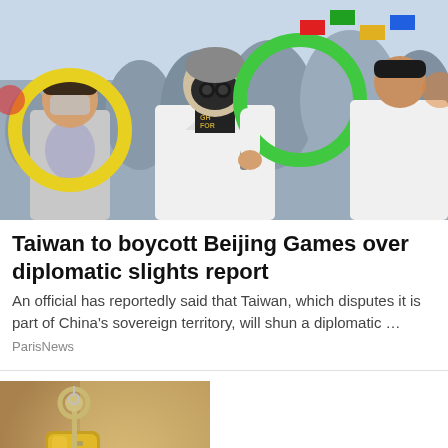[Figure (photo): Protesters holding colorful hoop rings (yellow and green), one person wearing a gas mask, at a demonstration related to Taiwan]
Taiwan to boycott Beijing Games over diplomatic slights report
An official has reportedly said that Taiwan, which disputes it is part of China's sovereign territory, will shun a diplomatic …
ParisNews
[Figure (photo): A gold door lock with a key inserted and a red house-shaped keychain/tag hanging from it, representing real estate or housing]